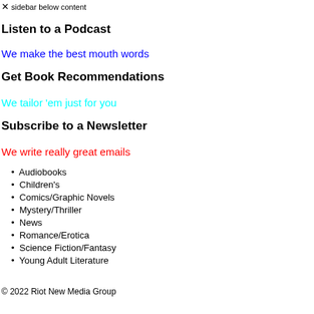× sidebar below content
Listen to a Podcast
We make the best mouth words
Get Book Recommendations
We tailor 'em just for you
Subscribe to a Newsletter
We write really great emails
Audiobooks
Children's
Comics/Graphic Novels
Mystery/Thriller
News
Romance/Erotica
Science Fiction/Fantasy
Young Adult Literature
© 2022 Riot New Media Group